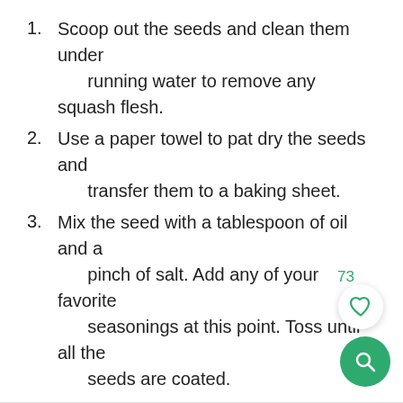1. Scoop out the seeds and clean them under running water to remove any squash flesh.
2. Use a paper towel to pat dry the seeds and transfer them to a baking sheet.
3. Mix the seed with a tablespoon of oil and a pinch of salt. Add any of your favorite seasonings at this point. Toss until all the seeds are coated.
4. Roast for about 20-25 minutes at 300F or until the seeds start to brown and become fragrant.
5. Remove from the oven and allow to cool.